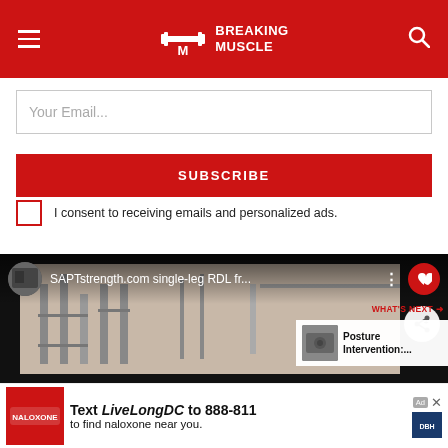Breaking Muscle
Your Email...
SUBSCRIBE
I consent to receiving emails and personalized ads.
[Figure (screenshot): YouTube-style video player showing 'SAPTstrength.com single-leg RDL fr...' with a gym background image, channel avatar, heart button, share button, and What's Next panel showing Posture Intervention]
[Figure (other): Advertisement banner: Text LiveLongDC to 888-811 to find naloxone near you. With logos including DBH.]